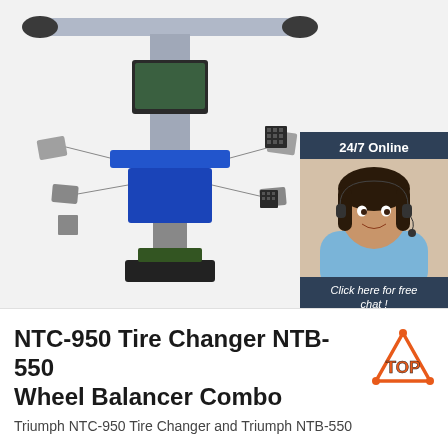[Figure (photo): Wheel alignment machine (NTC-950 / NTB-550 combo) with long horizontal cross bar at top with black end caps, central column with monitor/screen, blue mechanical arms extending outward with calibration targets/sensors attached, on a black base plate. White background product shot.]
[Figure (infographic): Live chat widget panel with dark blue background. Top section says '24/7 Online'. Middle shows a woman with headset smiling. Bottom dark blue section says 'Click here for free chat!' with an orange button labeled 'QUOTATION'.]
NTC-950 Tire Changer NTB-550 Wheel Balancer Combo
[Figure (logo): TOP badge logo: orange triangle outline with dots at corners, bold text 'TOP' in orange/red with black outline.]
Triumph NTC-950 Tire Changer and Triumph NTB-550